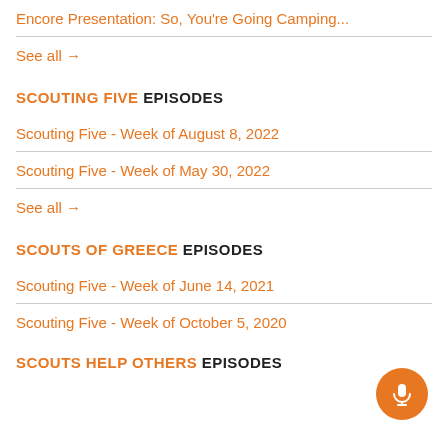Encore Presentation: So, You're Going Camping...
See all →
SCOUTING FIVE EPISODES
Scouting Five - Week of August 8, 2022
Scouting Five - Week of May 30, 2022
See all →
SCOUTS OF GREECE EPISODES
Scouting Five - Week of June 14, 2021
Scouting Five - Week of October 5, 2020
SCOUTS HELP OTHERS EPISODES